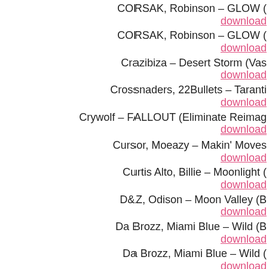CORSAK, Robinson – GLOW (…
download
CORSAK, Robinson – GLOW (…
download
Crazibiza – Desert Storm (Vas…
download
Crossnaders, 22Bullets – Taranti…
download
Crywolf – FALLOUT (Eliminate Reimag…
download
Cursor, Moeazy – Makin' Moves…
download
Curtis Alto, Billie – Moonlight (…
download
D&Z, Odison – Moon Valley (B…
download
Da Brozz, Miami Blue – Wild (B…
download
Da Brozz, Miami Blue – Wild (…
download
Damian-G – Nasty (Origi…
download
Daniel Simmons – Guard (6TH S…